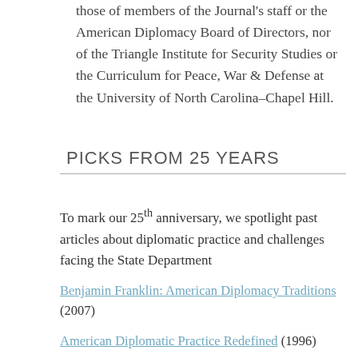published in this journal are not necessarily those of members of the Journal's staff or the American Diplomacy Board of Directors, nor of the Triangle Institute for Security Studies or the Curriculum for Peace, War & Defense at the University of North Carolina–Chapel Hill.
PICKS FROM 25 YEARS
To mark our 25th anniversary, we spotlight past articles about diplomatic practice and challenges facing the State Department
Benjamin Franklin: American Diplomacy Traditions (2007)
American Diplomatic Practice Redefined (1996)